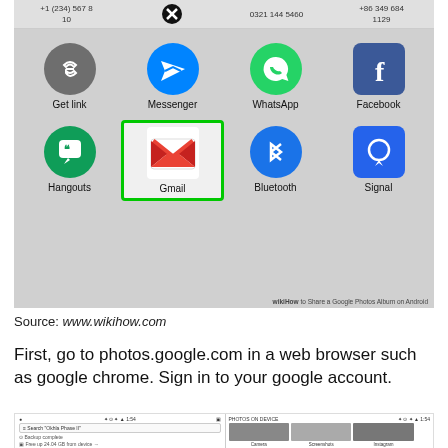[Figure (screenshot): Android share sheet screenshot showing app icons: Get link, Messenger, WhatsApp, Facebook (top row); Hangouts, Gmail (highlighted with green border), Bluetooth, Signal (bottom row). WikiHow watermark at bottom right.]
Source: www.wikihow.com
First, go to photos.google.com in a web browser such as google chrome. Sign in to your google account.
[Figure (screenshot): Google Photos app screenshot (partial) showing search bar, backup complete, free up storage, and Photos on Device with Camera, Screenshots, Instagram albums.]